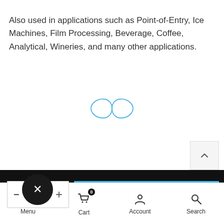Also used in applications such as Point-of-Entry, Ice Machines, Film Processing, Beverage, Coffee, Analytical, Wineries, and many other applications.
[Figure (other): Infinity/loading spinner icon in light blue outline style]
[Figure (other): Scroll-to-top button with upward chevron arrow]
[Figure (other): Add to cart UI bar with quantity selector (minus/X/plus) and blue ADD TO CART button]
Menu  Cart 0  Account  Search